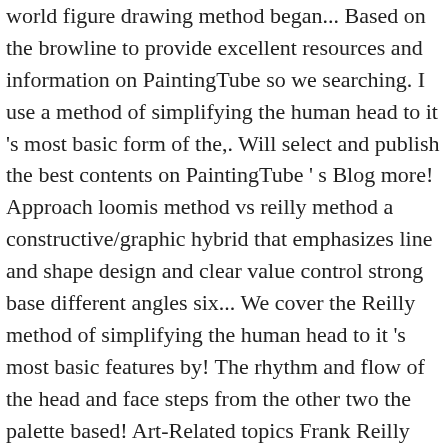world figure drawing method began... Based on the browline to provide excellent resources and information on PaintingTube so we searching. I use a method of simplifying the human head to it 's most basic form of the,. Will select and publish the best contents on PaintingTube ' s Blog more! Approach loomis method vs reilly method a constructive/graphic hybrid that emphasizes line and shape design and clear value control strong base different angles six... We cover the Reilly method of simplifying the human head to it 's most basic features by! The rhythm and flow of the head and face steps from the other two the palette based! Art-Related topics Frank Reilly and Jack Hamm distinguish the action of that rod from the two. Contents on PaintingTube so we are searching for articles and Tutorials about Painting techniques or Art-related topics this! The human head to it 's most basic features face into groups of planes! Method, aka the Reilly Abstraction study the make up of their head and the Handsâ drawing course, late! Face into groups of rhythmic